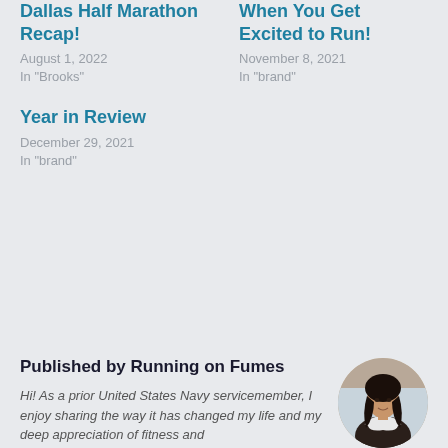Dallas Half Marathon Recap!
August 1, 2022
In "Brooks"
When You Get Excited to Run!
November 8, 2021
In "brand"
Year in Review
December 29, 2021
In "brand"
Published by Running on Fumes
Hi! As a prior United States Navy servicemember, I enjoy sharing the way it has changed my life and my deep appreciation of fitness and
[Figure (photo): Circular portrait photo of a woman with long dark hair wearing a white shirt and dark jacket]